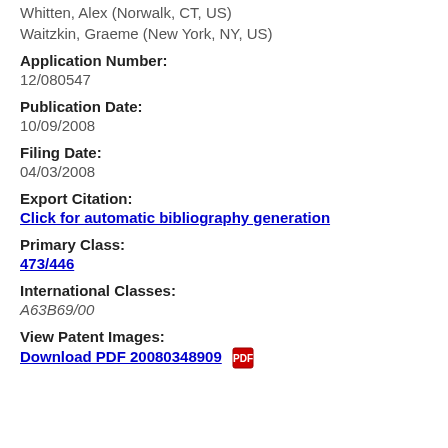Whitten, Alex (Norwalk, CT, US)
Waitzkin, Graeme (New York, NY, US)
Application Number:
12/080547
Publication Date:
10/09/2008
Filing Date:
04/03/2008
Export Citation:
Click for automatic bibliography generation
Primary Class:
473/446
International Classes:
A63B69/00
View Patent Images:
Download PDF 20080348909